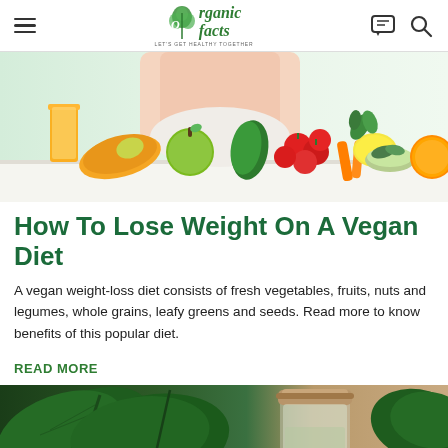Organic Facts — LET'S GET HEALTHY TOGETHER
[Figure (photo): Photo of a woman with fresh fruits and vegetables spread on a table in front of her, including tomatoes, apples, mango, green pepper, lemon, oranges, herbs, and a glass of orange juice, against a light green background.]
How To Lose Weight On A Vegan Diet
A vegan weight-loss diet consists of fresh vegetables, fruits, nuts and legumes, whole grains, leafy greens and seeds. Read more to know benefits of this popular diet.
READ MORE
[Figure (photo): Photo showing large tropical green leaves and what appears to be a glass jar with a wooden lid, on a light background, partially cropped.]